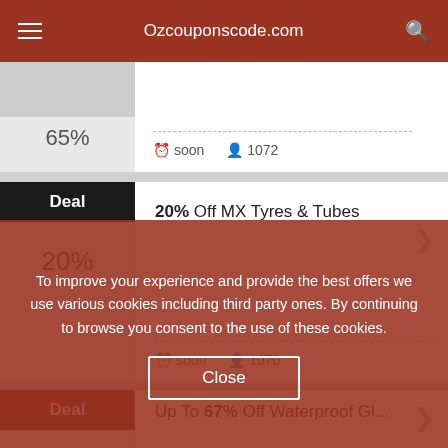Ozcouponscode.com
[Figure (screenshot): Partial deal card showing a percentage badge and soon/1072 meta info]
20% Off MX Tyres & Tubes
soon  1070
Up To 67% Off Waterproof Gloves (partially visible behind overlay)
To improve your experience and provide the best offers we use various cookies including third party ones. By continuing to browse you consent to the use of these cookies.